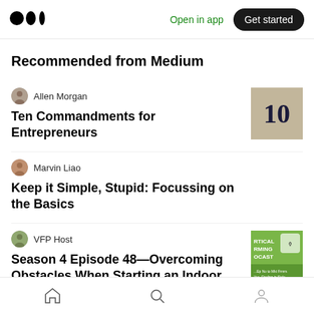Medium — Open in app | Get started
Recommended from Medium
Allen Morgan
Ten Commandments for Entrepreneurs
[Figure (photo): Stone or concrete surface with number 10 engraved/painted in dark color]
Marvin Liao
Keep it Simple, Stupid: Focussing on the Basics
VFP Host
Season 4 Episode 48—Overcoming Obstacles When Starting an Indoor Farm,
[Figure (photo): Green podcast cover art with text RTICAL RMING OCAST]
Home | Search | Profile navigation icons